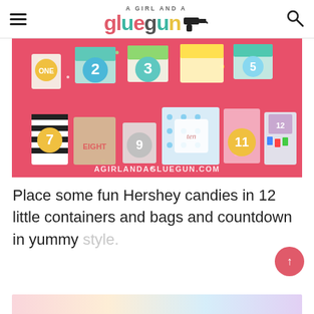A GIRL AND A gluegun (logo with glue gun icon)
[Figure (photo): Colorful assortment of 12 small gift bags, envelopes, and containers numbered 1-12 arranged on a hot pink background with confetti sprinkles. Text overlay reads AGIRLANDAGLUEGUN.COM]
Place some fun Hershey candies in 12 little containers and bags and countdown in yummy style.